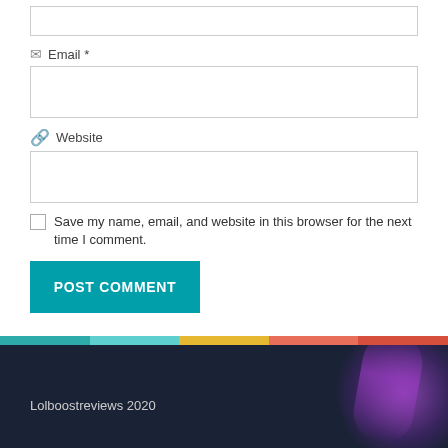Email *
Website
Save my name, email, and website in this browser for the next time I comment.
POST COMMENT
Lolboostreviews 2020